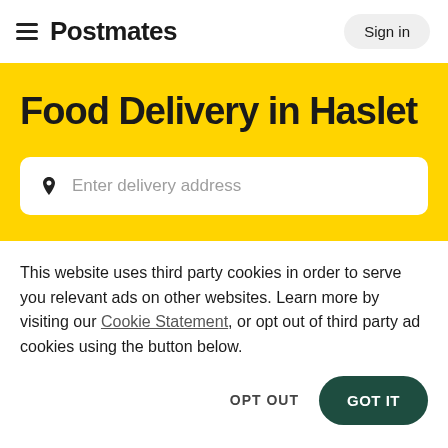Postmates   Sign in
Food Delivery in Haslet
Enter delivery address
This website uses third party cookies in order to serve you relevant ads on other websites. Learn more by visiting our Cookie Statement, or opt out of third party ad cookies using the button below.
OPT OUT   GOT IT